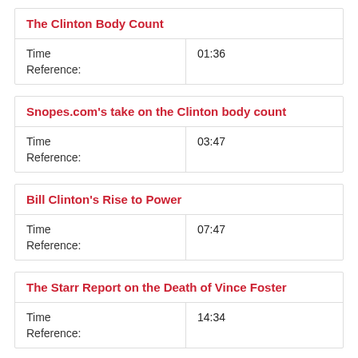| The Clinton Body Count |  |
| --- | --- |
| Time
Reference: | 01:36 |
| Snopes.com's take on the Clinton body count |  |
| --- | --- |
| Time
Reference: | 03:47 |
| Bill Clinton's Rise to Power |  |
| --- | --- |
| Time
Reference: | 07:47 |
| The Starr Report on the Death of Vince Foster |  |
| --- | --- |
| Time
Reference: | 14:34 |